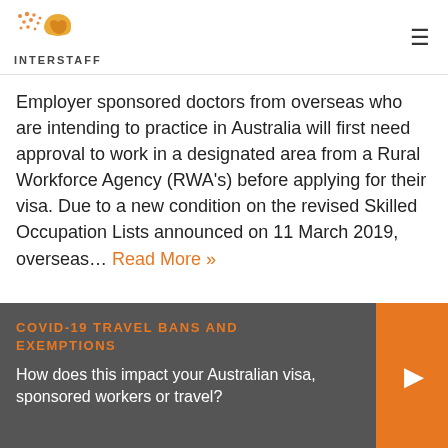INTERSTAFF
Employer sponsored doctors from overseas who are intending to practice in Australia will first need approval to work in a designated area from a Rural Workforce Agency (RWA's) before applying for their visa. Due to a new condition on the revised Skilled Occupation Lists announced on 11 March 2019, overseas… Read More »
COVID-19 TRAVEL BANS AND EXEMPTIONS
How does this impact your Australian visa, sponsored workers or travel?